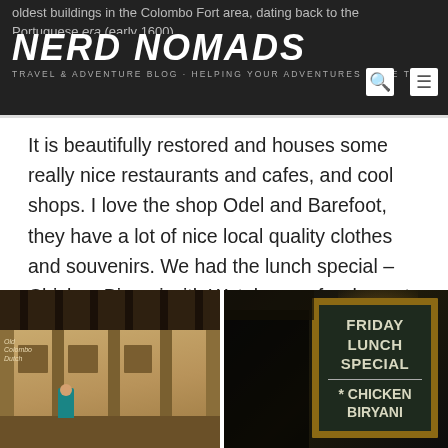oldest buildings in the Colombo Fort area, dating back to the Portuguese era (early 1600). NERD NOMADS | TRAVEL & ADVENTURE BLOG - HELPING YOUR ADVENTURES COME TRUE
It is beautifully restored and houses some really nice restaurants and cafes, and cool shops. I love the shop Odel and Barefoot, they have a lot of nice local quality clothes and souvenirs. We had the lunch special – Chicken Biryani with Watalappan for dessert, delicious!
[Figure (photo): Left: colonnade corridor of a heritage building with wooden ceiling beams, warm ochre walls, archways, and people dining. Right: a chalkboard sign reading FRIDAY LUNCH SPECIAL * CHICKEN BIRYANI with a dark atmospheric background.]